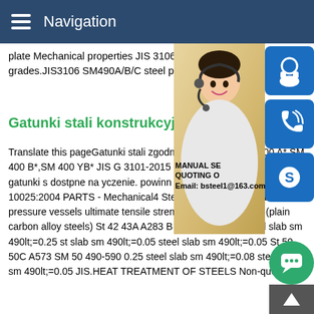Navigation
plate Mechanical properties JIS 3106 SM4 grades.JIS3106 SM490A/B/C steel plate is steel.
Gatunki stali konstrukcyjnej -
Translate this pageGatunki stali zgodne z 3106-2015 SM 400 A*,SM 400 B*,SM 400 YB* JIS G 3101-2015 SS 400*,S 490* * do Inne gatunki s dostpne na yczenie. powinn oparciu o wytyczne normy EN 10025:2004 PARTS - Mechanical4 Steel plates for boilers and pressure vessels ultimate tensile strength and temperature (plain carbon alloy steels) St 42 43A A283 B SM 41 410-490 steel slab sm 490lt;=0.25 st slab sm 490lt;=0.05 steel slab sm 490lt;=0.05 St 50 50C A573 SM 50 490-590 0.25 steel slab sm 490lt;=0.08 steel slab sm 490lt;=0.05 JIS.HEAT TREATMENT OF STEELS Non-quench
[Figure (photo): Customer service representative woman with headset, smiling, with blue icon buttons for support, phone, and Skype on the right side, and a promotional overlay showing MANUAL SE, QUOTING O, Email: bsteel1@163.com]